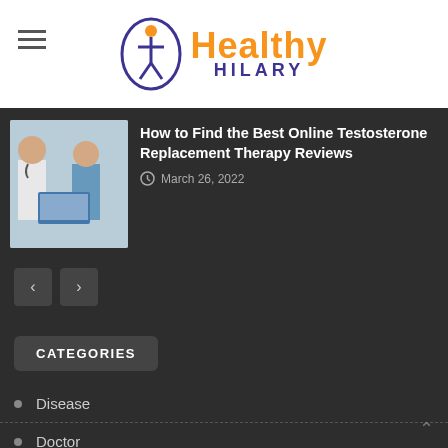Healthy Hilary
[Figure (photo): Two male doctors or medical professionals looking at a laptop together, one wearing a white coat with stethoscope]
How to Find the Best Online Testosterone Replacement Therapy Reviews
March 26, 2022
CATEGORIES
Disease
Doctor
Health
Meditation